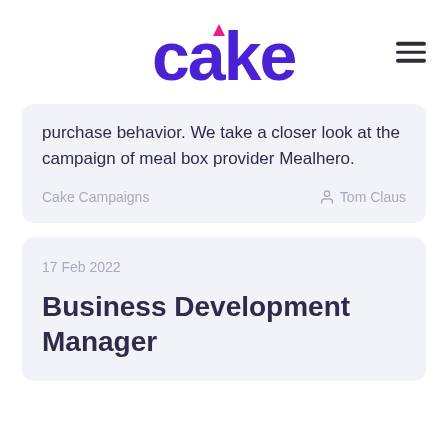[Figure (logo): Cake logo in purple with pink accent on the letter i]
purchase behavior. We take a closer look at the campaign of meal box provider Mealhero.
Cake Campaigns
Tom Claus
17 Feb 2022
Business Development Manager